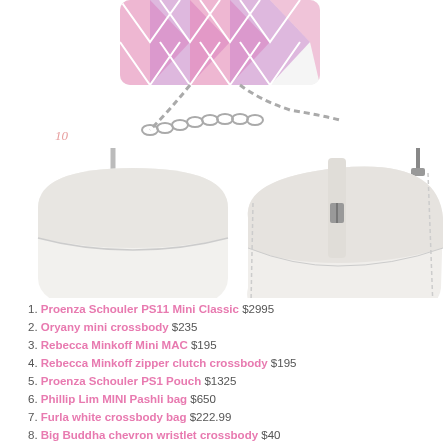[Figure (photo): Top portion showing a chevron-patterned pink/purple wristlet crossbody bag with chain strap, and two white crossbody saddle bags numbered 10 and 11]
1. Proenza Schouler PS11 Mini Classic $2995
2. Oryany mini crossbody $235
3. Rebecca Minkoff Mini MAC $195
4. Rebecca Minkoff zipper clutch crossbody $195
5. Proenza Schouler PS1 Pouch $1325
6. Phillip Lim MINI Pashli bag $650
7. Furla white crossbody bag $222.99
8. Big Buddha chevron wristlet crossbody $40